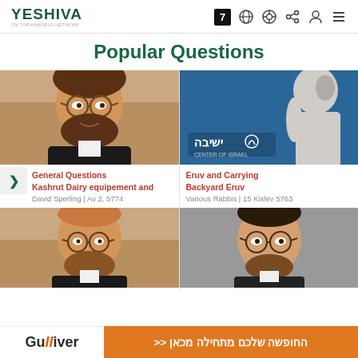YESHIVA — navigation header with logo and icons
Popular Questions
[Figure (photo): Rabbi with glasses and beard, smiling, indoor background]
General Questions
Kashrut Dairy equipement and
David Sperling | Av 2, 5774
[Figure (illustration): Blue background with white silhouette of a rabbi profile and Yeshiva logo]
Eruv and Carrying
Backyard Eruv
Various Rabbis | 15 Kislev 5763
[Figure (photo): Rabbi with glasses, bald, smiling, same indoor background]
[Figure (photo): Rabbi with glasses and beard, smiling, grey background]
[Figure (other): Gulliver advertisement banner with Hebrew text: החופשה שלכם מתחילה מכאן <<]